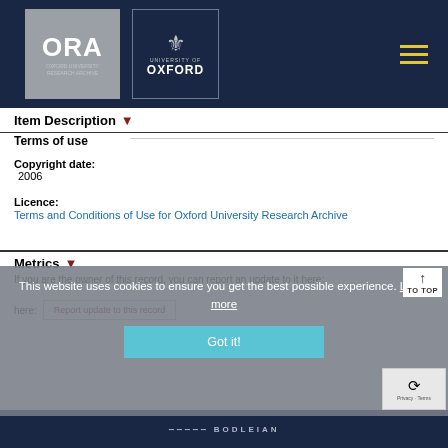[Figure (logo): ORA Oxford University Research Archive and University of Oxford logos in navy header bar with hamburger menu icon]
Item Description ▾
Terms of use
Copyright date:
2006
Licence:
Terms and Conditions of Use for Oxford University Research Archive
Metrics ▾
If you are the owner of this record, you can report an update to it here:
here:
Report update to this record
This website uses cookies to ensure you get the best possible experience. Learn more
Got it!
BODLEIAN